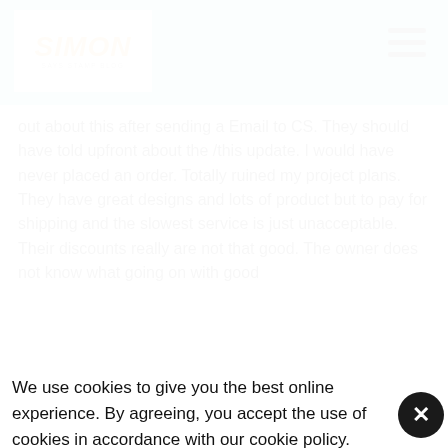Simon Says Stamp Blog
out about this after sending a Email to CS. They should have told upfront about the /this update. I would have never placed an order. Totally ruined my project plans. They have great designs and lots of product but to pay for shipping and the slowest service is just unacceptable. Their discounts really are not that good. The owner does not know what going on with good
We use cookies to give you the best online experience. By agreeing, you accept the use of cookies in accordance with our cookie policy.
DECLINE
I ACCEPT
Privacy Policy   Cookie Policy
Jen B